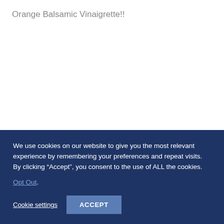Orange Balsamic Vinaigrette!!
We use cookies on our website to give you the most relevant experience by remembering your preferences and repeat visits. By clicking “Accept”, you consent to the use of ALL the cookies.
Opt Out.
Cookie settings
ACCEPT